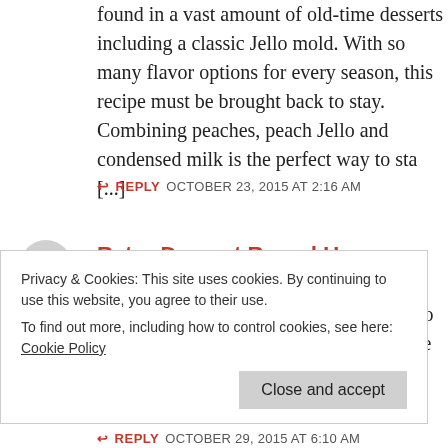found in a vast amount of old-time desserts including a classic Jello mold. With so many flavor options for every season, this recipe must be brought back to stay. Combining peaches, peach Jello and condensed milk is the perfect way to sta [...]
↩ REPLY  OCTOBER 23, 2015 AT 2:16 AM
Retro Dessert Round Up
[...] Jello Mold An American classic, Jello can be found in a vast amount of old-time desserts including a classic Jello Mold. With so many flavor
Privacy & Cookies: This site uses cookies. By continuing to use this website, you agree to their use.
To find out more, including how to control cookies, see here: Cookie Policy
Close and accept
↩ REPLY  OCTOBER 29, 2015 AT 6:10 AM